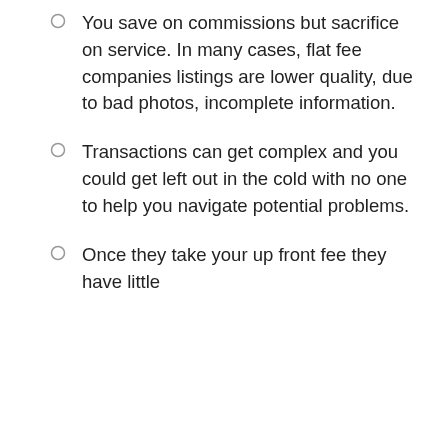You save on commissions but sacrifice on service. In many cases, flat fee companies listings are lower quality, due to bad photos, incomplete information.
Transactions can get complex and you could get left out in the cold with no one to help you navigate potential problems.
Once they take your up front fee they have little